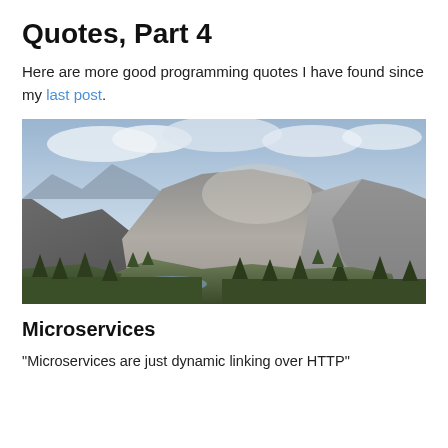Quotes, Part 4
Here are more good programming quotes I have found since my last post.
[Figure (photo): Landscape photograph of Yosemite-style granite mountains with pine forest valley and cloudy sky]
Microservices
“Microservices are just dynamic linking over HTTP”